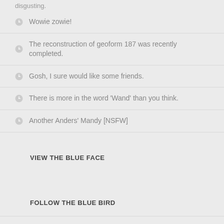disgusting.
Wowie zowie!
The reconstruction of geoform 187 was recently completed.
Gosh, I sure would like some friends.
There is more in the word 'Wand' than you think.
Another Anders' Mandy [NSFW]
VIEW THE BLUE FACE
FOLLOW THE BLUE BIRD